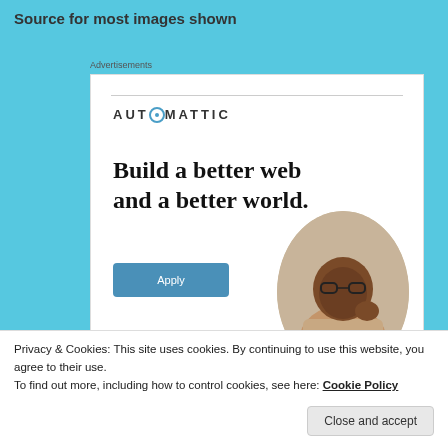Source for most images shown
Advertisements
[Figure (illustration): Automattic advertisement banner with the text 'Build a better web and a better world.' an Apply button, and a circular photo of a man thinking]
Privacy & Cookies: This site uses cookies. By continuing to use this website, you agree to their use. To find out more, including how to control cookies, see here: Cookie Policy
Close and accept